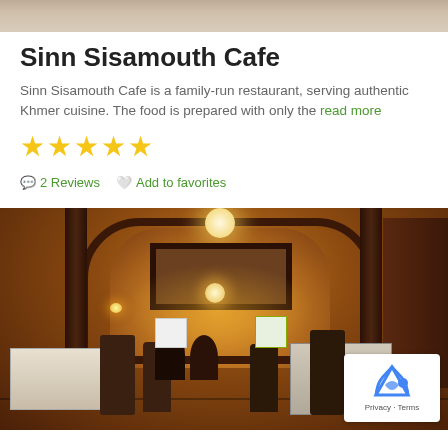[Figure (photo): Top portion of a restaurant photo, cropped at top of page]
Sinn Sisamouth Cafe
Sinn Sisamouth Cafe is a family-run restaurant, serving authentic Khmer cuisine. The food is prepared with only the read more
[Figure (other): Five yellow star rating]
2 Reviews  Add to favorites
[Figure (photo): Interior of Sinn Sisamouth Cafe restaurant showing warm orange-lit dining room with wooden arch doorway, tables, chairs, and diners. A reCAPTCHA privacy overlay appears in bottom-right corner.]